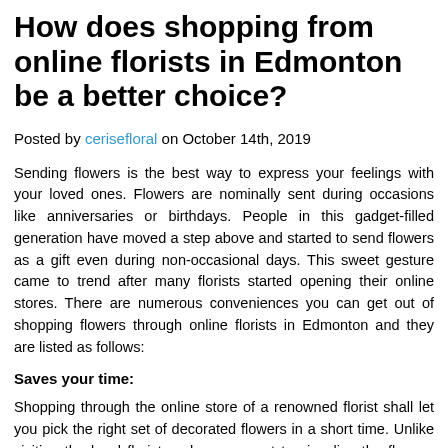How does shopping from online florists in Edmonton be a better choice?
Posted by cerisefloral on October 14th, 2019
Sending flowers is the best way to express your feelings with your loved ones. Flowers are nominally sent during occasions like anniversaries or birthdays. People in this gadget-filled generation have moved a step above and started to send flowers as a gift even during non-occasional days. This sweet gesture came to trend after many florists started opening their online stores. There are numerous conveniences you can get out of shopping flowers through online florists in Edmonton and they are listed as follows:
Saves your time:
Shopping through the online store of a renowned florist shall let you pick the right set of decorated flowers in a short time. Unlike visiting the local florists, where you get to visualize the flowers only after the flowers are decoratively arranged in person, online florists do have an image presented with the